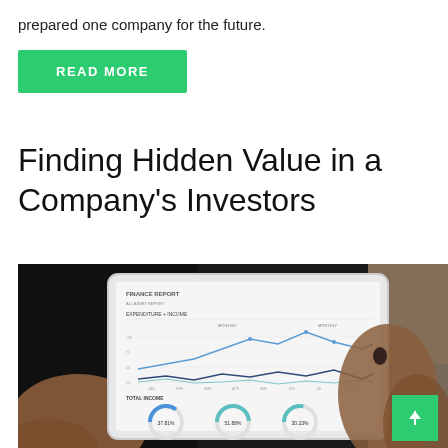prepared one company for the future.
READ MORE
Finding Hidden Value in a Company's Investors
[Figure (photo): Person holding a tablet displaying a finance report with line charts and donut charts showing percentages 37.81%, 51.88%, 30.23%]